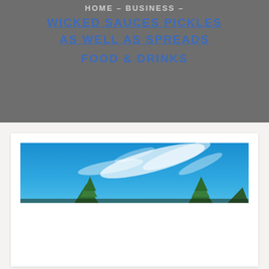HOME – BUSINESS –
WICKED SAUCES PICKLES AS WELL AS SPREADS
FOOD & DRINKS
[Figure (photo): Panoramic photo of a bright blue sky with wispy white clouds and tops of green conifer trees visible at the bottom edges.]